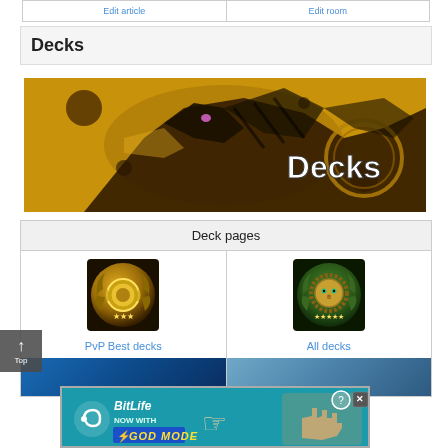|  |  |
| --- | --- |
| Edit article | Edit room |
Decks
[Figure (illustration): Yellow and black dragon/creature artwork with text 'Decks' overlaid in white]
| Deck pages |
| --- |
| PvP Best decks | All decks |
| (image) | (image) |
[Figure (photo): Gold medal/badge icon for PvP Best decks]
PvP Best decks
[Figure (photo): Gold lion badge icon for All decks]
All decks
[Figure (screenshot): BitLife advertisement banner - NOW WITH GOD MODE]
[Figure (illustration): Top navigation button with upward arrow and 'Top' label]